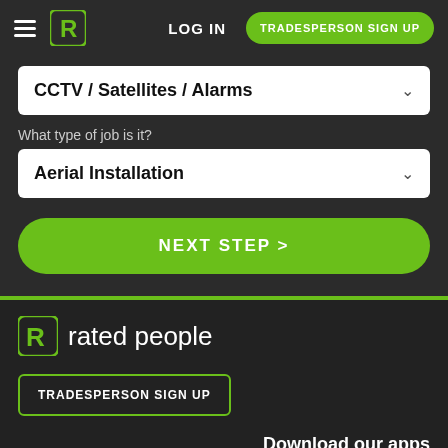[Figure (logo): Rated People logo icon (green R in square) in navigation bar]
LOG IN
TRADESPERSON SIGN UP
CCTV / Satellites / Alarms
What type of job is it?
Aerial Installation
NEXT STEP >
[Figure (logo): Rated People logo with icon and text 'rated people']
TRADESPERSON SIGN UP
Download our apps